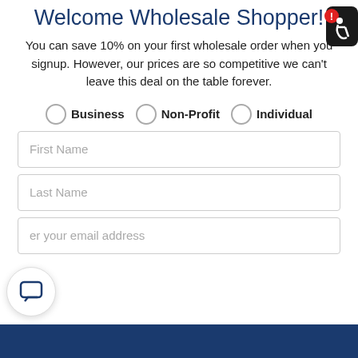Welcome Wholesale Shopper!
You can save 10% on your first wholesale order when you signup. However, our prices are so competitive we can't leave this deal on the table forever.
Business
Non-Profit
Individual
First Name
Last Name
er your email address